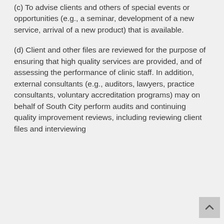(c) To advise clients and others of special events or opportunities (e.g., a seminar, development of a new service, arrival of a new product) that is available.
(d) Client and other files are reviewed for the purpose of ensuring that high quality services are provided, and of assessing the performance of clinic staff. In addition, external consultants (e.g., auditors, lawyers, practice consultants, voluntary accreditation programs) may on behalf of South City perform audits and continuing quality improvement reviews, including reviewing client files and interviewing